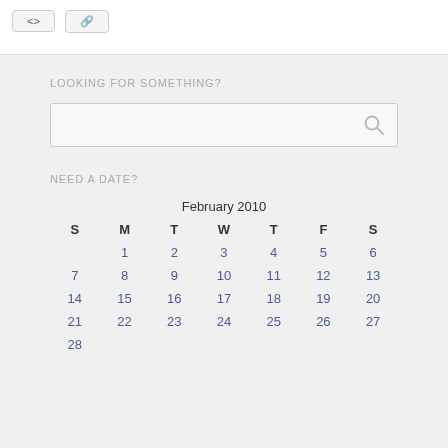[Figure (screenshot): Two UI buttons at top of page]
LOOKING FOR SOMETHING?
[Figure (screenshot): Search input box with magnifying glass icon]
NEED A DATE?
| S | M | T | W | T | F | S |
| --- | --- | --- | --- | --- | --- | --- |
|  | 1 | 2 | 3 | 4 | 5 | 6 |
| 7 | 8 | 9 | 10 | 11 | 12 | 13 |
| 14 | 15 | 16 | 17 | 18 | 19 | 20 |
| 21 | 22 | 23 | 24 | 25 | 26 | 27 |
| 28 |  |  |  |  |  |  |